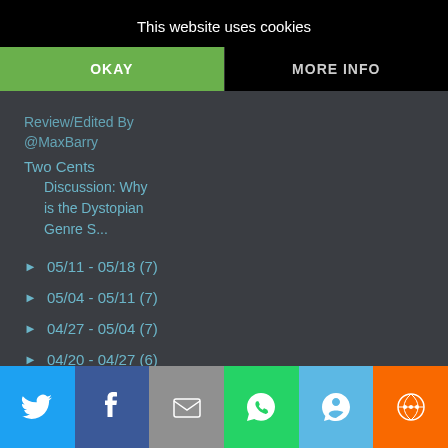This website uses cookies
OKAY
MORE INFO
Review/Edited By @MaxBarry
Two Cents
Discussion: Why is the Dystopian Genre S...
► 05/11 - 05/18 (7)
► 05/04 - 05/11 (7)
► 04/27 - 05/04 (7)
► 04/20 - 04/27 (6)
► 04/13 - 04/20 (5)
► 04/06 - 04/13 (5)
► 03/30 - 04/06 (6)